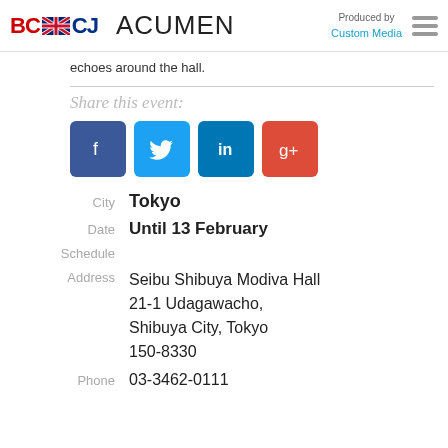BCCJ ACUMEN — Produced by Custom Media
echoes around the hall.
Share this event:
[Figure (other): Social sharing buttons: Facebook (blue), Twitter (cyan), LinkedIn (teal), Google+ (red)]
| Label | Value |
| --- | --- |
| City | Tokyo |
| Date | Until 13 February |
| Schedule |  |
| Address | Seibu Shibuya Modiva Hall
21-1 Udagawacho, Shibuya City, Tokyo 150-8330 |
| Phone | 03-3462-0111 |